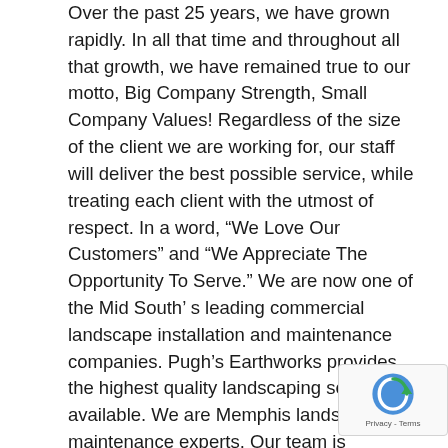Over the past 25 years, we have grown rapidly. In all that time and throughout all that growth, we have remained true to our motto, Big Company Strength, Small Company Values! Regardless of the size of the client we are working for, our staff will deliver the best possible service, while treating each client with the utmost of respect. In a word, “We Love Our Customers” and “We Appreciate The Opportunity To Serve.” We are now one of the Mid South’ s leading commercial landscape installation and maintenance companies. Pugh’s Earthworks provides the highest quality landscaping services available. We are Memphis landscape maintenance experts. Our team is committed to acting with the utmost of integrity with our business operations and for clients and the communities we serve. Every job we do is backed by our 100% customer satisfaction guarantee. Our Quality Assurance Guarantee Pugh’s Earthworks offers an excellent quality assurance program. We are licensed and insured and stand behind all of the work that we perform with our quality assurance guarantee. Quality is everyone’s responsibility. Quality is conformance to the customer’s requirements. We believe every job can be improved. Every idea is treated with the utmost respect. We realize that improvement must be an